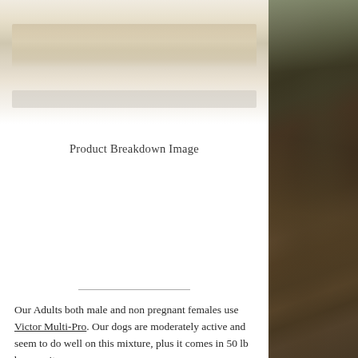[Figure (photo): Blurred/washed out top image placeholder area showing faded warm tones, likely a product image placeholder]
Product Breakdown Image
[Figure (photo): Nature photograph strip on right side showing forest scene with trees, branches, rocks and a stream with dark and green tones]
Our Adults both male and non pregnant females use Victor Multi-Pro. Our dogs are moderately active and seem to do well on this mixture, plus it comes in 50 lb bags so it